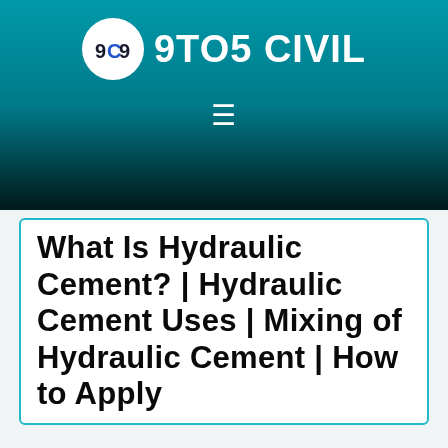9TO5 CIVIL
What Is Hydraulic Cement? | Hydraulic Cement Uses | Mixing of Hydraulic Cement | How to Apply